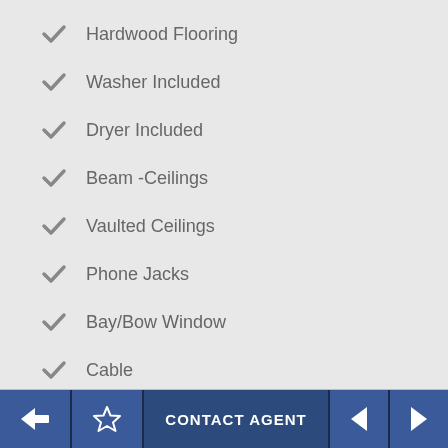Hardwood Flooring
Washer Included
Dryer Included
Beam -Ceilings
Vaulted Ceilings
Phone Jacks
Bay/Bow Window
Cable
Stall Shower And Tub
Blinds
CONTACT AGENT